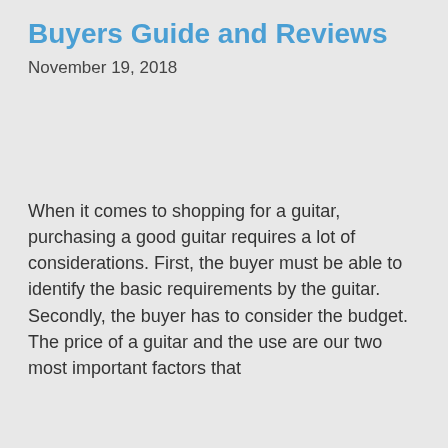Buyers Guide and Reviews
November 19, 2018
When it comes to shopping for a guitar, purchasing a good guitar requires a lot of considerations. First, the buyer must be able to identify the basic requirements by the guitar. Secondly, the buyer has to consider the budget. The price of a guitar and the use are our two most important factors that